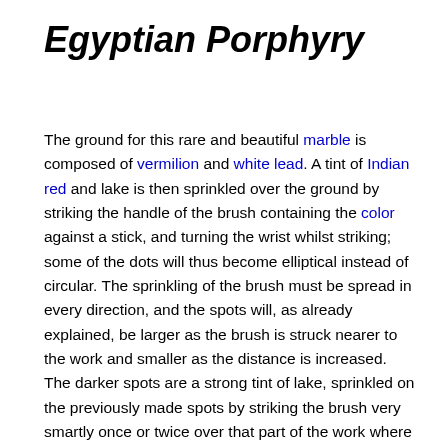Egyptian Porphyry
The ground for this rare and beautiful marble is composed of vermilion and white lead. A tint of Indian red and lake is then sprinkled over the ground by striking the handle of the brush containing the color against a stick, and turning the wrist whilst striking; some of the dots will thus become elliptical instead of circular. The sprinkling of the brush must be spread in every direction, and the spots will, as already explained, be larger as the brush is struck nearer to the work and smaller as the distance is increased. The darker spots are a strong tint of lake, sprinkled on the previously made spots by striking the brush very smartly once or twice over that part of the work where they are required. The whole must then be left to dry; after this, a light blue tint must be sprinkled very lightly over different parts of the surface, but in no part so thickly as to overpower the red. The larger spots are to be done with white applied with a sable pencil near the darkest sprinkling. Dark spots of a tint formed with blue and lake are now to be added, and the work is to be completed by white veins drawn with a fine camel's hair pencil.